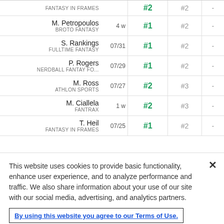| Analyst / Source | Date | Rank1 | Rank2 | Rank3 |
| --- | --- | --- | --- | --- |
| FANTASY IN FRAMES |  | #2 | #2 | - |
| M. Petropoulos / BROTO FANTASY | 4 w | #1 | #2 | - |
| S. Rankings / FULLTIME FANTASY | 07/31 | #1 | #2 | - |
| P. Rogers / NERDBALL FANTAY FO... | 07/29 | #1 | #2 | - |
| M. Ross / ATHLON SPORTS | 07/27 | #2 | #3 | - |
| M. Ciallela / FANTRAX | 1 w | #2 | #3 | - |
| T. Heil / FANTASY IN FRAMES | 07/25 | #1 | #2 | - |
This website uses cookies to provide basic functionality, enhance user experience, and to analyze performance and traffic. We also share information about your use of our site with our social media, advertising, and analytics partners.
By using this website you agree to our Terms of Use.
Do Not Sell My Personal Information
Accept Cookies